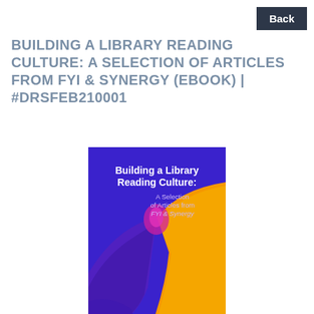Back
BUILDING A LIBRARY READING CULTURE: A SELECTION OF ARTICLES FROM FYI & SYNERGY (EBOOK) | #DRSFEB210001
[Figure (illustration): Book cover for 'Building a Library Reading Culture: A Selection of Articles from FYI & Synergy'. Blue and orange/yellow abstract flowing shapes background with bold white and pink text.]